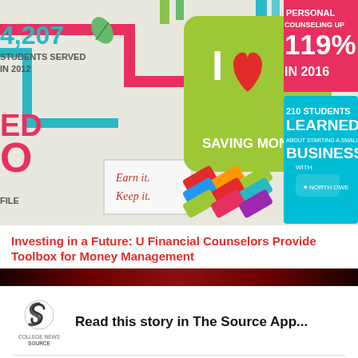[Figure (photo): Colorful financial literacy infographic wall with text elements: '4,207 STUDENTS SERVED IN 2012', 'I LOVE SAVING MONEY' on a green background, 'PERSONAL COUNSELING UP 119% IN 2016', '210 STUDENTS LEARNED ABOUT STARTING A SMALL BUSINESS WITH', 'Earn it. Keep it.', and a woven colorful pattern.]
Investing in a Future: U Financial Counselors Provide Toolbox for Money Management
[Figure (screenshot): Dark red/maroon banner strip]
Read this story in The Source App...
Open App
Continue in browser